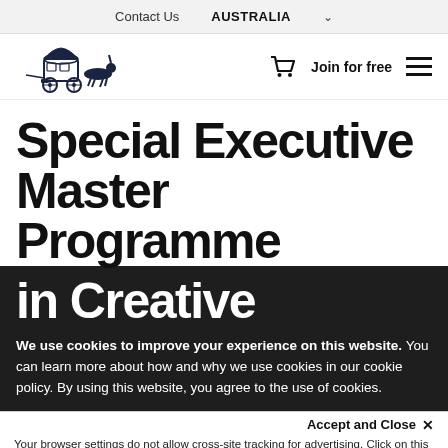Contact Us   AUSTRALIA ˅
[Figure (logo): Horse-drawn carriage logo illustration in dark navy ink]
Join for free ≡
Special Executive Master Programme in Creative
We use cookies to improve your experience on this website. You can learn more about how and why we use cookies in our cookie policy. By using this website, you agree to the use of cookies.
Accept and Close ✕
Your browser settings do not allow cross-site tracking for advertising. Click on this page to allow AdRoll to use cross-site tracking to tailor ads to you. Learn more or opt out of this AdRoll tracking by clicking here. This message only appears once.